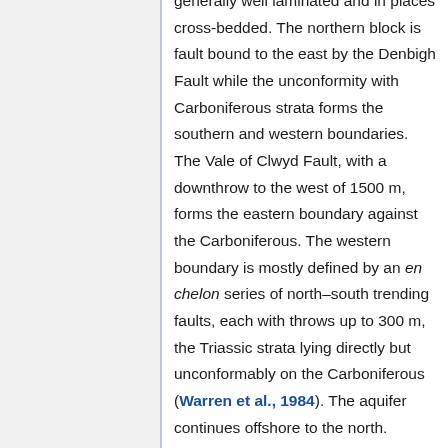generally well laminated and in places cross-bedded. The northern block is fault bound to the east by the Denbigh Fault while the unconformity with Carboniferous strata forms the southern and western boundaries. The Vale of Clwyd Fault, with a downthrow to the west of 1500 m, forms the eastern boundary against the Carboniferous. The western boundary is mostly defined by an en chelon series of north–south trending faults, each with throws up to 300 m, the Triassic strata lying directly but unconformably on the Carboniferous (Warren et al., 1984). The aquifer continues offshore to the north. Wilson et al. (2002) suggest that the Kinnerton Sandstone Formation may be as thick as 350 m onshore although the greatest thickness proven is 152 m in a borehole at Foryd [SH 9945 3799]. Wilson et al